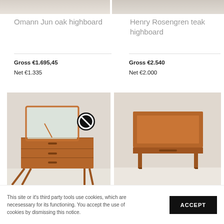[Figure (photo): Partial top view of a wooden highboard (left item)]
[Figure (photo): Partial top view of a wooden highboard (right item)]
Omann Jun oak highboard
Henry Rosengren teak highboard
Gross €1.695,45
Net €1.335
Gross €2.540
Net €2.000
[Figure (photo): Vintage teak dressing table/vanity with mirror and three drawers on angled legs, with a no-symbol icon overlay]
[Figure (photo): Teak side table with a raised-edge top surface and a single drawer, on four straight legs]
This site or it's third party tools use cookies, which are necesessary for its functioning. You accept the use of cookies by dismissing this notice.